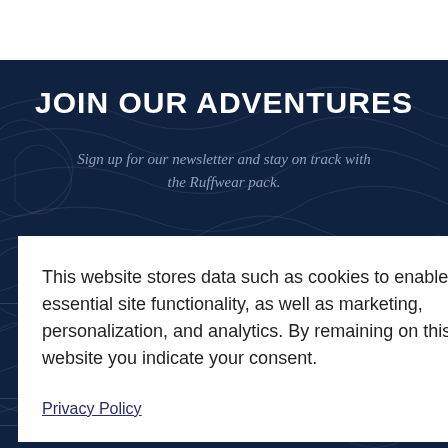JOIN OUR ADVENTURES
Sign up for our newsletter and stay on track with the Ruffwear pack.
This website stores data such as cookies to enable essential site functionality, as well as marketing, personalization, and analytics. By remaining on this website you indicate your consent.
Privacy Policy